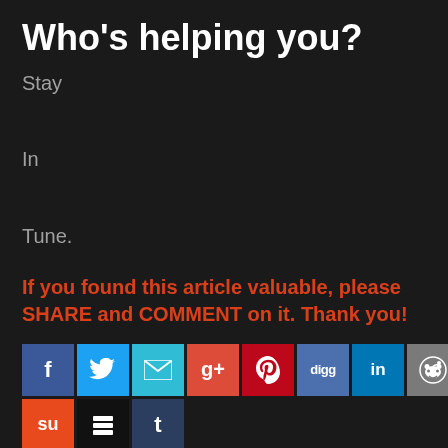Who's helping you?
Stay

In

Tune.
If you found this article valuable, please SHARE and COMMENT on it. Thank you!
[Figure (other): Social sharing buttons row: Facebook (f), Twitter (bird), Email (envelope), Google+ (g), Pinterest (p), Digg (digg), LinkedIn (in), Reddit (alien), StumbleUpon (su), Buffer (layers), Tumblr (t)]